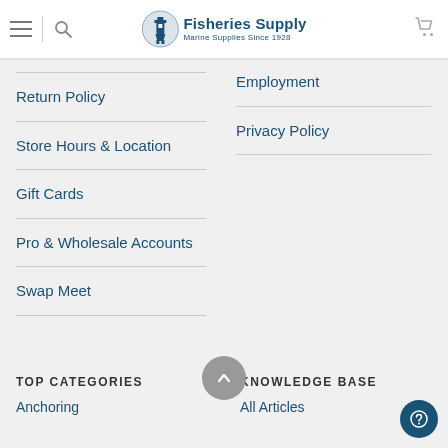[Figure (logo): Fisheries Supply logo with lighthouse icon and text 'Fisheries Supply Marine Supplies Since 1928']
Return Policy
Store Hours & Location
Gift Cards
Pro & Wholesale Accounts
Swap Meet
Employment
Privacy Policy
TOP CATEGORIES
KNOWLEDGE BASE
Anchoring
All Articles